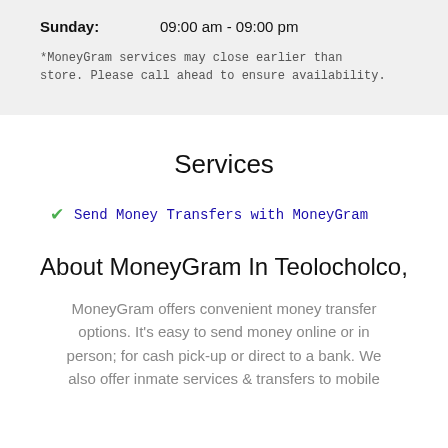Sunday:    09:00 am - 09:00 pm
*MoneyGram services may close earlier than store. Please call ahead to ensure availability.
Services
Send Money Transfers with MoneyGram
About MoneyGram In Teolocholco,
MoneyGram offers convenient money transfer options. It's easy to send money online or in person; for cash pick-up or direct to a bank. We also offer inmate services & transfers to mobile